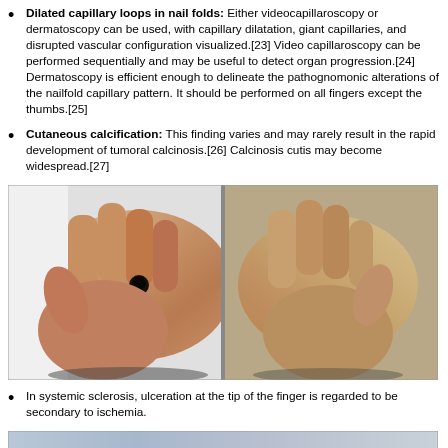Dilated capillary loops in nail folds: Either videocapillaroscopy or dermatoscopy can be used, with capillary dilatation, giant capillaries, and disrupted vascular configuration visualized.[23] Video capillaroscopy can be performed sequentially and may be useful to detect organ progression.[24] Dermatoscopy is efficient enough to delineate the pathognomonic alterations of the nailfold capillary pattern. It should be performed on all fingers except the thumbs.[25]
Cutaneous calcification: This finding varies and may rarely result in the rapid development of tumoral calcinosis.[26] Calcinosis cutis may become widespread.[27]
[Figure (photo): Two photographs of hands showing finger ulceration and ischemic changes in systemic sclerosis. Left image shows dorsal view of hand with dark ulceration at fingertip. Right image shows palm-side view of the other hand with skin changes.]
In systemic sclerosis, ulceration at the tip of the finger is regarded to be secondary to ischemia.
[Figure (photo): Partial photograph at bottom of page showing close-up of fingers with skin changes, cropped.]